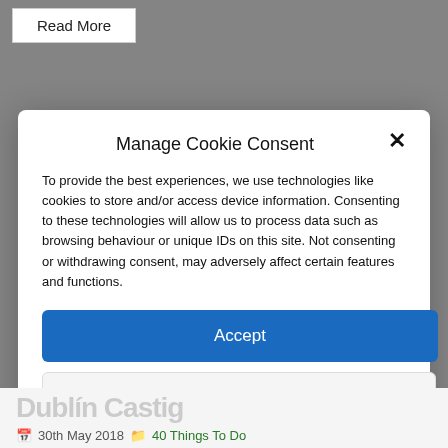Read More
Manage Cookie Consent
To provide the best experiences, we use technologies like cookies to store and/or access device information. Consenting to these technologies will allow us to process data such as browsing behaviour or unique IDs on this site. Not consenting or withdrawing consent, may adversely affect certain features and functions.
Accept
Deny
View preferences
Cookie Policy  Privacy & Cookie Policy, Terms of Use
30th May 2018  40 Things To Do